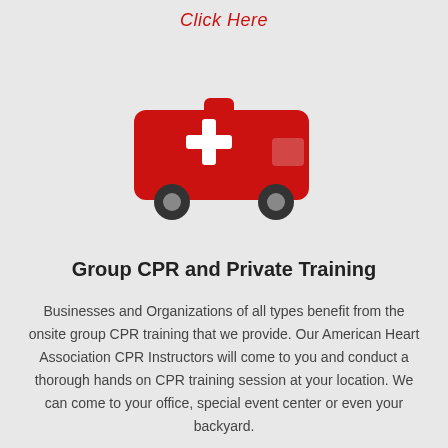Click Here
[Figure (illustration): Red ambulance / medical emergency vehicle icon with a white plus/cross symbol on the side]
Group CPR and Private Training
Businesses and Organizations of all types benefit from the onsite group CPR training that we provide. Our American Heart Association CPR Instructors will come to you and conduct a thorough hands on CPR training session at your location. We can come to your office, special event center or even your backyard.